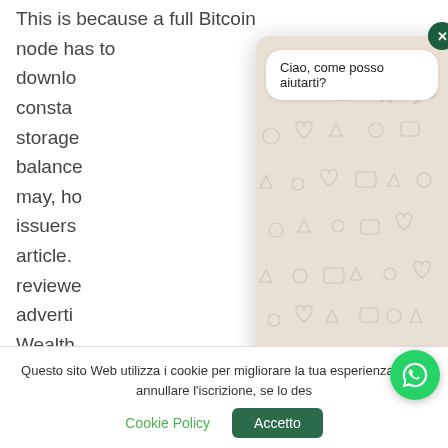This is because a full Bitcoin node has to download constantly storage balance may, however issuers article. reviewed adverti Wealth investm of 0.25
[Figure (screenshot): WhatsApp chat widget popup overlay on a webpage. Shows a greeting bubble 'Ciao, come posso aiutarti?' on a decorative beige background with cartoon icons, a close button (X) in dark green, a white pill-shaped input bar, and a green send button.]
Questo sito Web utilizza i cookie per migliorare la tua esperienza. Puoi annullare l'iscrizione, se lo des
Cookie Policy
Accetto